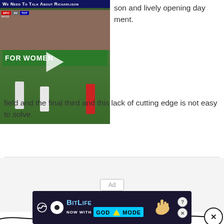[Figure (screenshot): Video thumbnail of a soccer/football match with title bar reading 'WE NEED TO TALK ABOUT RICHARLISON' and a play button overlay. Players in white and red kits visible on a green pitch.]
son and lively opening day ment.
field and the final third and this lack of cutting edge is not easy to solve.
[Figure (other): Advertisement placeholder area with 'Ad' label in center]
[Figure (other): BitLife banner advertisement: NOW WITH GOD MODE, with cartoon hand illustration and help/close icons]